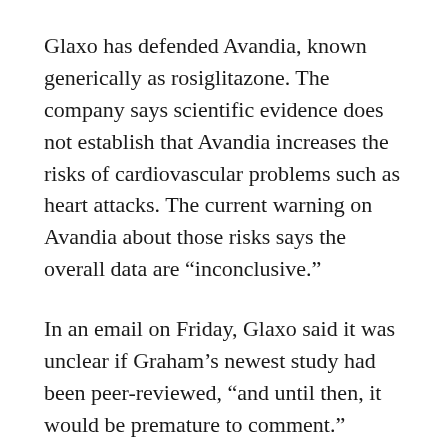Glaxo has defended Avandia, known generically as rosiglitazone. The company says scientific evidence does not establish that Avandia increases the risks of cardiovascular problems such as heart attacks. The current warning on Avandia about those risks says the overall data are “inconclusive.”
In an email on Friday, Glaxo said it was unclear if Graham’s newest study had been peer-reviewed, “and until then, it would be premature to comment.”
“However, it is important to note that there are inherent limitations with retrospective observational studies, including variables that were not considered nor corrected for when conducting the study, which